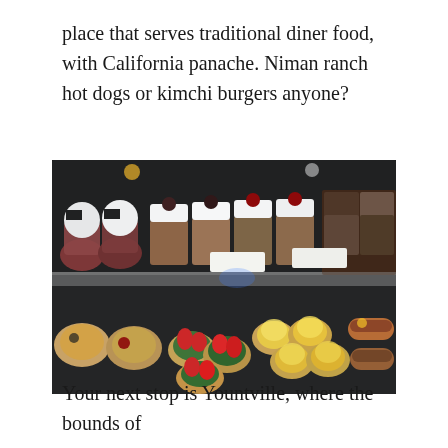place that serves traditional diner food, with California panache. Niman ranch hot dogs or kimchi burgers anyone?
[Figure (photo): A bakery/pastry display case showing multiple shelves of desserts including cupcakes with white frosting and dark toppings on the upper shelf, and tarts with strawberries, lemon meringue tarts, eclairs, and fruit pastries on the lower shelf.]
Your next stop is Yountville, where the bounds of